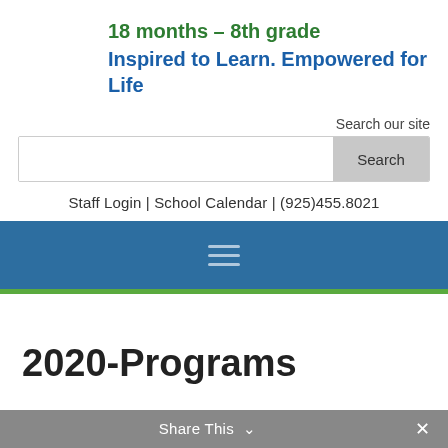18 months – 8th grade
Inspired to Learn. Empowered for Life
Search our site
Staff Login | School Calendar | (925)455.8021
[Figure (screenshot): Navigation bar with hamburger menu icon on blue background with green bottom border]
2020-Programs
Share This ∨  ×